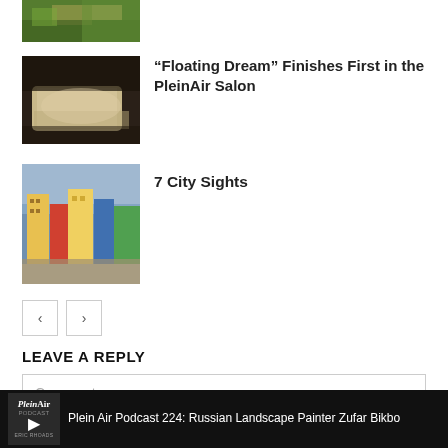[Figure (photo): Partial top thumbnail of a painting showing green foliage/landscape, cropped at top of page]
[Figure (photo): Thumbnail of 'Floating Dream' painting showing a reclining figure in white, dark atmospheric background]
“Floating Dream” Finishes First in the PleinAir Salon
[Figure (photo): Thumbnail of '7 City Sights' painting showing colorful European-style city buildings]
7 City Sights
LEAVE A REPLY
Comment:
Plein Air Podcast 224: Russian Landscape Painter Zufar Bikbo